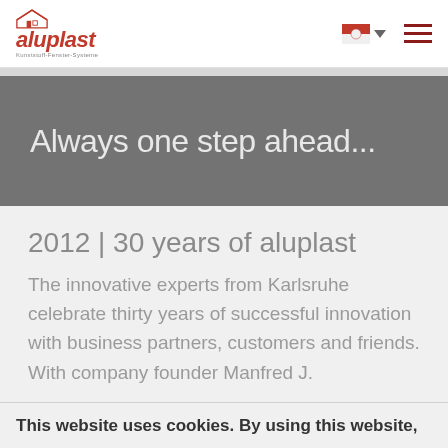aluplast
Always one step ahead...
2012 | 30 years of aluplast
The innovative experts from Karlsruhe celebrate thirty years of successful innovation with business partners, customers and friends. With company founder Manfred J.
This website uses cookies. By using this website,